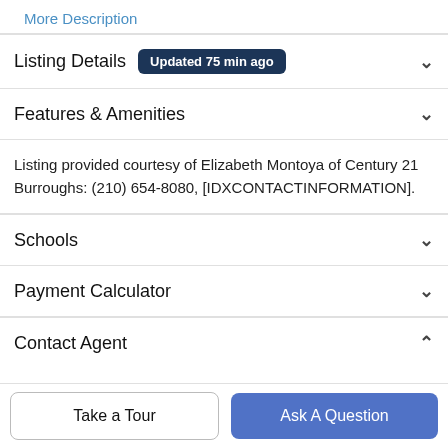More Description
Listing Details
Updated 75 min ago
Features & Amenities
Listing provided courtesy of Elizabeth Montoya of Century 21 Burroughs: (210) 654-8080, [IDXCONTACTINFORMATION].
Schools
Payment Calculator
Contact Agent
Take a Tour
Ask A Question